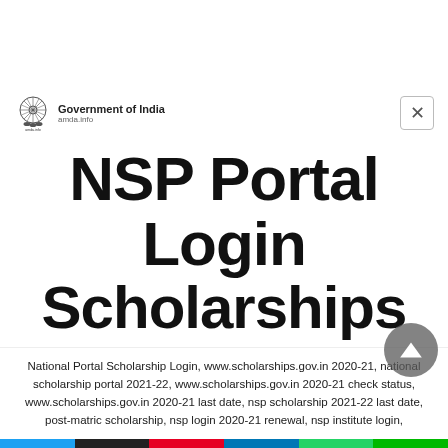[Figure (logo): Government of India emblem with text 'Government of India' and 'amda.info' underneath]
NSP Portal Login Scholarships
National Portal Scholarship Login, www.scholarships.gov.in 2020-21, national scholarship portal 2021-22, www.scholarships.gov.in 2020-21 check status, www.scholarships.gov.in 2020-21 last date, nsp scholarship 2021-22 last date, post-matric scholarship, nsp login 2020-21 renewal, nsp institute login,
[Figure (infographic): Social share bar with Twitter, Email, Pinterest, LinkedIn, WhatsApp, and LINE buttons]